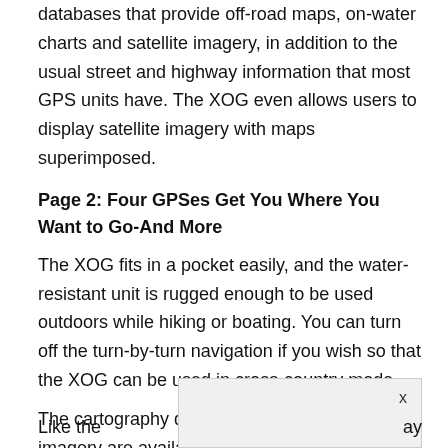databases that provide off-road maps, on-water charts and satellite imagery, in addition to the usual street and highway information that most GPS units have. The XOG even allows users to display satellite imagery with maps superimposed.
Page 2: Four GPSes Get You Where You Want to Go-And More
The XOG fits in a pocket easily, and the water-resistant unit is rugged enough to be used outdoors while hiking or boating. You can turn off the turn-by-turn navigation if you wish so that the XOG can be used in cross-country mode.
The cartography databases and satellite imagery are available for download from Lowrance.
Like the ay